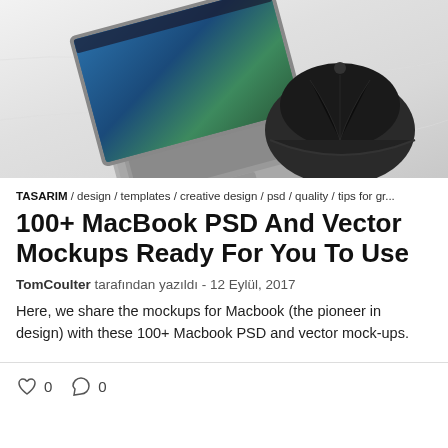[Figure (photo): Top-down view of a MacBook laptop on white bedding next to a black baseball cap]
TASARIM / design / templates / creative design / psd / quality / tips for gr...
100+ MacBook PSD And Vector Mockups Ready For You To Use
TomCoulter tarafından yazıldı - 12 Eylül, 2017
Here, we share the mockups for Macbook (the pioneer in design) with these 100+ Macbook PSD and vector mock-ups.
0  0